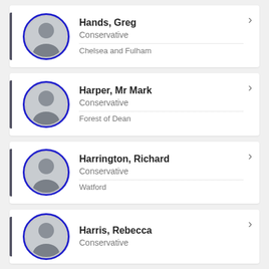Hands, Greg | Conservative | Chelsea and Fulham
Harper, Mr Mark | Conservative | Forest of Dean
Harrington, Richard | Conservative | Watford
Harris, Rebecca | Conservative